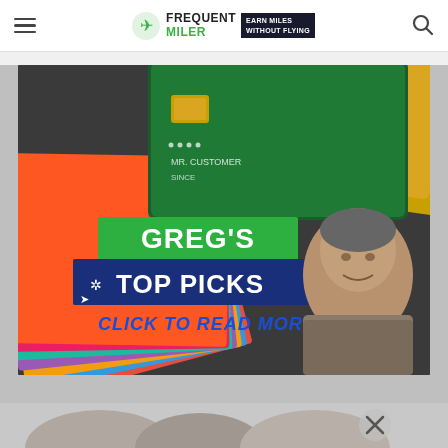Frequent Miler — EARN MILES WITHOUT FLYING
[Figure (screenshot): Promotional banner image showing stacked colorful credit cards in the background. Overlaid text reads: GREG'S TOP PICKS in green and dark blue banners, with 'CLICK TO READ MORE' in blue handwritten style text and a cursor arrow icon. A photo of a man (Greg) is shown on the right side of the image.]